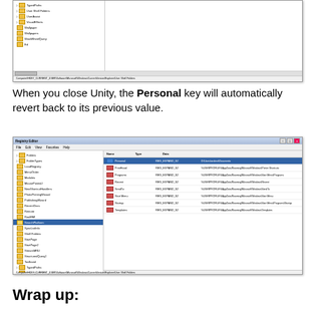[Figure (screenshot): Registry Editor screenshot showing Shell Folders tree node with TypedPaths, User Shell Folders, UserAssist, VisualEffects, Wallpaper, Wallpapers, WordWheelQuery, and Ed entries in left pane. Status bar shows Computer\HKEY_CURRENT_USER\Software\Microsoft\Windows\CurrentVersion\Explorer\User Shell Folders]
When you close Unity, the Personal key will automatically revert back to its previous value.
[Figure (screenshot): Registry Editor screenshot showing left tree pane with many folders including Folders, FolderTypes, LoadRegistry, MenuOrder, Modules, MousePointsU, NewShortcutHandlers, PhotoPrintingWizard, PublishingWizard, RecentDocs, Remote, RoaMMI, SearchPlatform, SyncListInfo, Shell Folders (selected), StartPage, StartPage2, StreamMRU, StructuredQuery2, Toolband, TypedPaths, User Shell Folders, UserAssist, VisualEffects, Wallpaper, Wallpapers, WordWheelQuery, Ed. Right pane shows keys: Personal (selected, blue), PrintHood, Programs, Recent, SendTo, Start Menu, Startup, Templates with REG_EXPAND_SZ types and long path data values. Status bar shows Computer\HKEY_CURRENT_USER\Software\Microsoft\Windows\CurrentVersion\Explorer\User Shell Folders]
Wrap up: